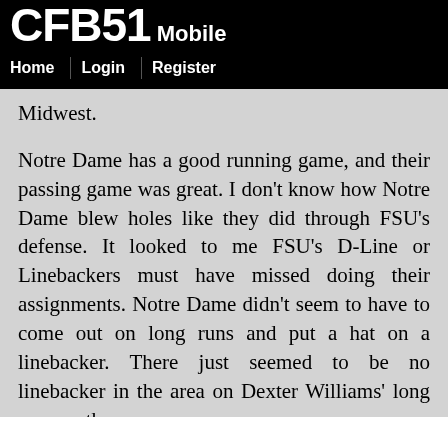CFB51 Mobile
Home | Login | Register
Midwest.
Notre Dame has a good running game, and their passing game was great. I don't know how Notre Dame blew holes like they did through FSU's defense. It looked to me FSU's D-Line or Linebackers must have missed doing their assignments. Notre Dame didn't seem to have to come out on long runs and put a hat on a linebacker. There just seemed to be no linebacker in the area on Dexter Williams' long runs up the